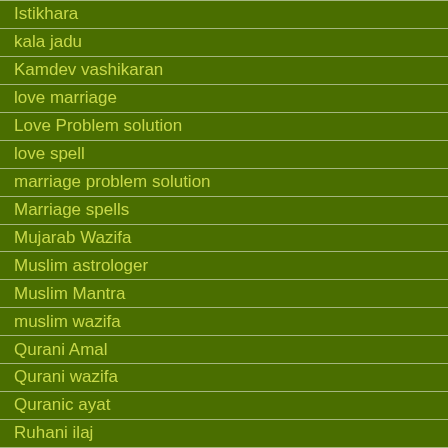Istikhara
kala jadu
Kamdev vashikaran
love marriage
Love Problem solution
love spell
marriage problem solution
Marriage spells
Mujarab Wazifa
Muslim astrologer
Muslim Mantra
muslim wazifa
Qurani Amal
Qurani wazifa
Quranic ayat
Ruhani ilaj